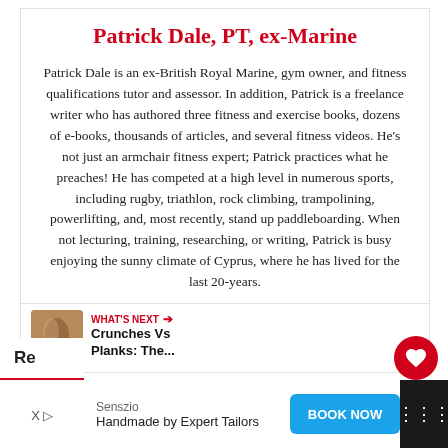Patrick Dale, PT, ex-Marine
Patrick Dale is an ex-British Royal Marine, gym owner, and fitness qualifications tutor and assessor. In addition, Patrick is a freelance writer who has authored three fitness and exercise books, dozens of e-books, thousands of articles, and several fitness videos. He’s not just an armchair fitness expert; Patrick practices what he preaches! He has competed at a high level in numerous sports, including rugby, triathlon, rock climbing, trampolining, powerlifting, and, most recently, stand up paddleboarding. When not lecturing, training, researching, or writing, Patrick is busy enjoying the sunny climate of Cyprus, where he has lived for the last 20-years.
[Figure (other): WHAT’S NEXT arrow with thumbnail image for Crunches Vs Planks: The...]
Re